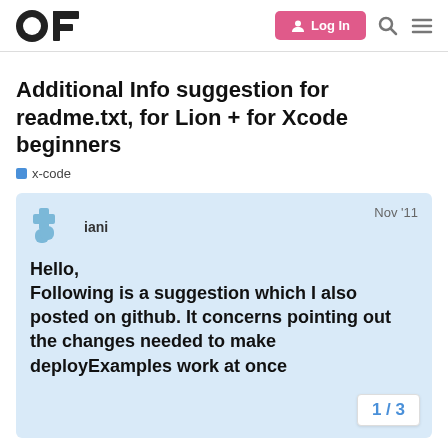openFrameworks forum — Log In
Additional Info suggestion for readme.txt, for Lion + for Xcode beginners
x-code
iani   Nov '11
Hello,
Following is a suggestion which I also posted on github. It concerns pointing out the changes needed to make deployExamples work at once
1 / 3